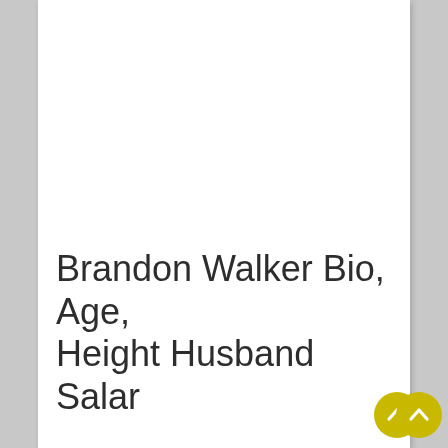Brandon Walker Bio, Age, Height Husband Salar